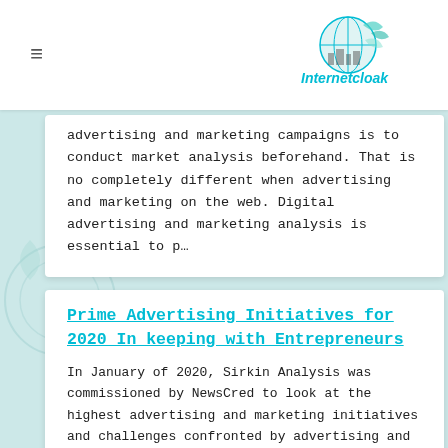≡   Internetcloak
advertising and marketing campaigns is to conduct market analysis beforehand. That is no completely different when advertising and marketing on the web. Digital advertising and marketing analysis is essential to p...
Prime Advertising Initiatives for 2020 In keeping with Entrepreneurs
In January of 2020, Sirkin Analysis was commissioned by NewsCred to look at the highest advertising and marketing initiatives and challenges confronted by advertising and marketing executives and leaders associated to advertising and marketing work administrat...